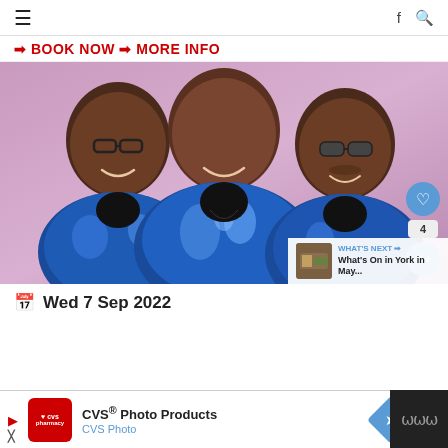≡  f Q
➜ BOOK NOW ➜ MORE INFO
[Figure (photo): Three men wearing sparkling blue sequin jackets and black shirts, smiling, posing against a pink/purple background. UI overlays show a heart button, share button, count of 4, and a 'What's Next' thumbnail linking to 'What's On in York in May...']
Wed 7 Sep 2022
CVS® Photo Products CVS Photo